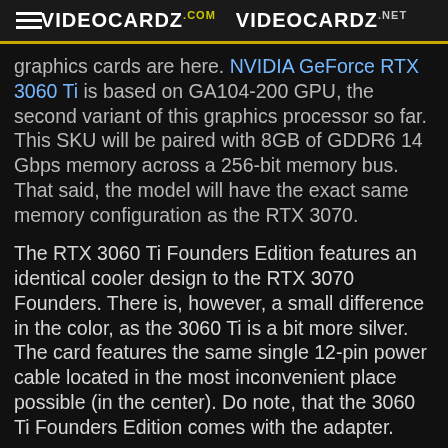VIDEOCARDZ.com  VIDEOCARDZ.net
graphics cards are here. NVIDIA GeForce RTX 3060 Ti is based on GA104-200 GPU, the second variant of this graphics processor so far. This SKU will be paired with 8GB of GDDR6 14 Gbps memory across a 256-bit memory bus. That said, the model will have the exact same memory configuration as the RTX 3070.
The RTX 3060 Ti Founders Edition features an identical cooler design to the RTX 3070 Founders. There is, however, a small difference in the color, as the 3060 Ti is a bit more silver. The card features the same single 12-pin power cable located in the most inconvenient place possible (in the center). Do note, that the 3060 Ti Founders Edition comes with the adapter.
NVIDIA GeForce RTX 3060 Ti will feature 4864 CUDA cores with 152 Tensor cores and 38 RT cores. NVIDIA officially claims that this graphics card will be faster than GeForce RTX 2080 SUPER, the last-gen, full-fat TU104 model that launched at $699 USD. The RTX...